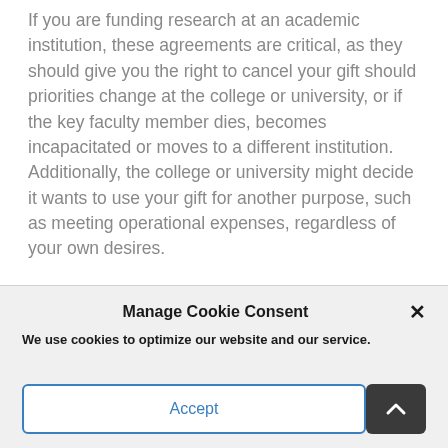If you are funding research at an academic institution, these agreements are critical, as they should give you the right to cancel your gift should priorities change at the college or university, or if the key faculty member dies, becomes incapacitated or moves to a different institution. Additionally, the college or university might decide it wants to use your gift for another purpose, such as meeting operational expenses, regardless of your own desires.
Before going down the route of making a philanthropic gift, it is important to sit with your
Manage Cookie Consent
We use cookies to optimize our website and our service.
Accept